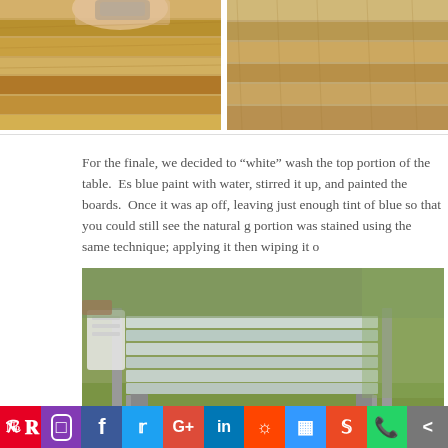[Figure (photo): Two side-by-side photos showing wooden boards being sanded/prepared for a DIY table project.]
For the finale, we decided to "white" wash the top portion of the table.  Es blue paint with water, stirred it up, and painted the boards.  Once it was ap off, leaving just enough tint of blue so that you could still see the natural g portion was stained using the same technique; applying it then wiping it o
[Figure (photo): A pallet wood coffee table with white-washed top boards sitting on grass outdoors.]
Pinterest Instagram Facebook Twitter Google+ LinkedIn Reddit Delicious StumbleUpon WhatsApp Share